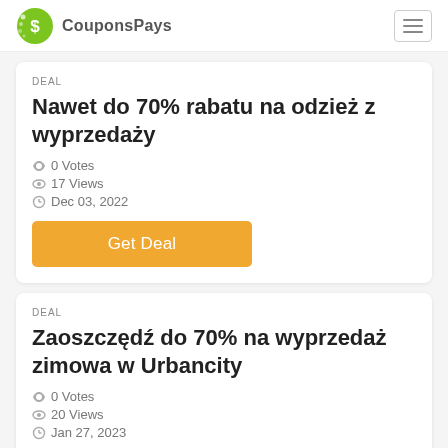CouponsPays
DEAL
Nawet do 70% rabatu na odzież z wyprzedaży
0 Votes
17 Views
Dec 03, 2022
Get Deal
DEAL
Zaoszczędź do 70% na wyprzedaż zimowa w Urbancity
0 Votes
20 Views
Jan 27, 2023